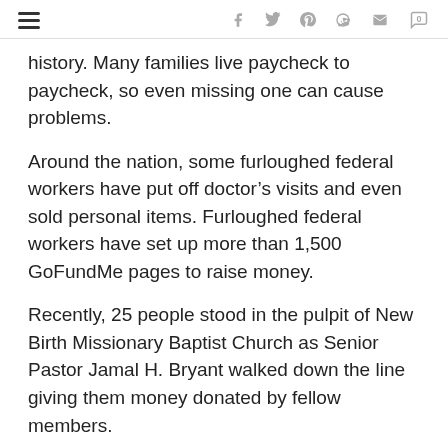navigation and social share icons
history. Many families live paycheck to paycheck, so even missing one can cause problems.
Around the nation, some furloughed federal workers have put off doctor's visits and even sold personal items. Furloughed federal workers have set up more than 1,500 GoFundMe pages to raise money.
Recently, 25 people stood in the pulpit of New Birth Missionary Baptist Church as Senior Pastor Jamal H. Bryant walked down the line giving them money donated by fellow members.
“I ain’t counting on Trump for nothing,” said Bryant,